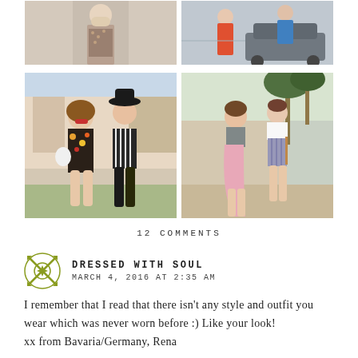[Figure (photo): Grid of four fashion photos: top-left shows a woman in floral/patterned outfit, top-right shows two women near a car, bottom-left shows two women posing in summer outfits (floral romper and striped outfit) in front of a building, bottom-right shows two women walking in summer outfits near palm trees.]
12 COMMENTS
DRESSED WITH SOUL
MARCH 4, 2016 AT 2:35 AM
I remember that I read that there isn't any style and outfit you wear which was never worn before :) Like your look!
xx from Bavaria/Germany, Rena